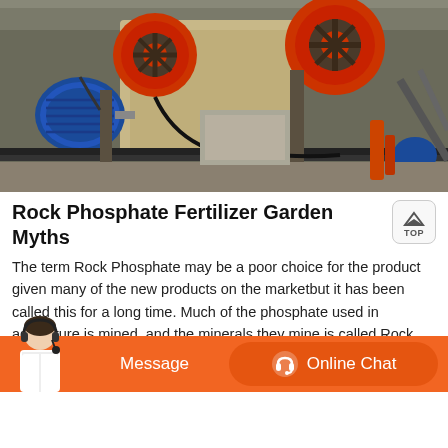[Figure (photo): Industrial machinery with large red flywheels and a blue electric motor in a factory/warehouse setting. Heavy crushing or processing equipment with conveyor belts and mechanical components.]
Rock Phosphate Fertilizer Garden Myths
The term Rock Phosphate may be a poor choice for the product given many of the new products on the marketbut it has been called this for a long time. Much of the phosphate used in agriculture is mined, and the minerals they mine is called Rock Phosphate. The product contains up to 30 phosphate which is quite high.